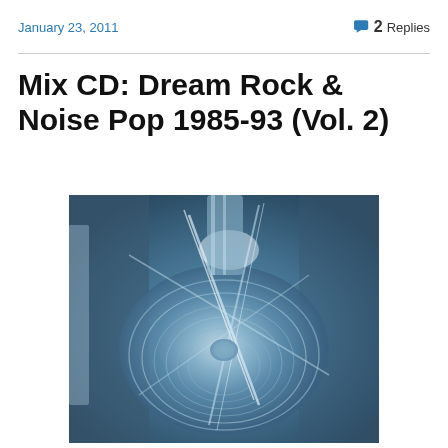January 23, 2011
2 Replies
Mix CD: Dream Rock & Noise Pop 1985-93 (Vol. 2)
[Figure (photo): Close-up photograph of a reflective CD surface with swirling light blue and white light reflections, showing spiral grooves and geometric light patterns.]